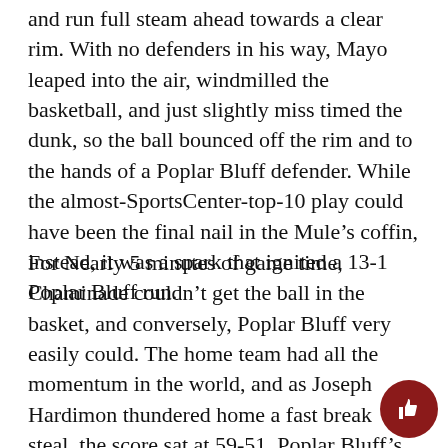and run full steam ahead towards a clear rim. With no defenders in his way, Mayo leaped into the air, windmilled the basketball, and just slightly miss timed the dunk, so the ball bounced off the rim and to the hands of a Poplar Bluff defender. While the almost-SportsCenter-top-10 play could have been the final nail in the Mule’s coffin, instead, it was a spark that ignited a 13-1 Poplar Bluff run.
For Nearly 5 minutes of game time, Chaminade couldn’t get the ball in the basket, and conversely, Poplar Bluff very easily could. The home team had all the momentum in the world, and as Joseph Hardimon thundered home a fast break steal, the score sat at 59-51. Poplar Bluff’s fans roared watching their team come within striking distance and the Red Devils couldn’t believe what they were witnessing.